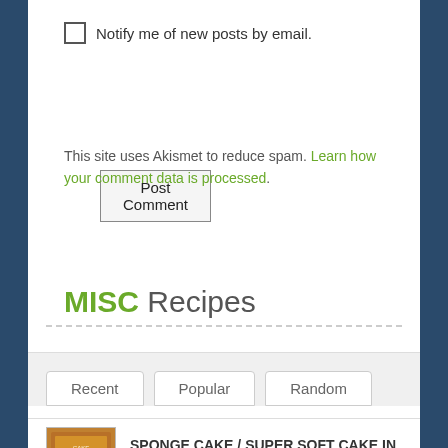Notify me of new posts by email.
Post Comment
This site uses Akismet to reduce spam. Learn how your comment data is processed.
MISC Recipes
Recent | Popular | Random
SPONGE CAKE / SUPER SOFT CAKE IN COOKER